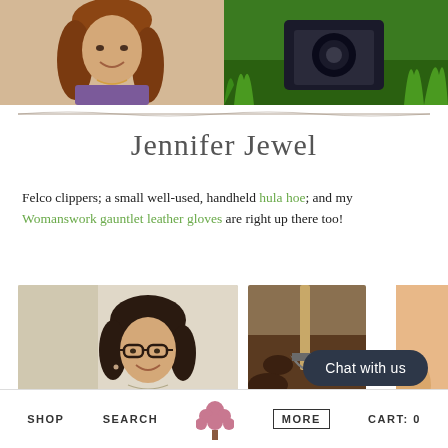[Figure (photo): Two photos side by side at top: left shows a woman with long brown hair smiling, wearing a purple top; right shows gardening/camera equipment in green grass]
Jennifer Jewel
Felco clippers; a small well-used, handheld hula hoe; and my Womanswork gauntlet leather gloves are right up there too!
[Figure (photo): Two photos side by side at bottom: left shows a woman with glasses and dark hair smiling indoors; right shows a shovel digging in soil/dirt]
SHOP   SEARCH   [tree logo]   MORE   CART: 0